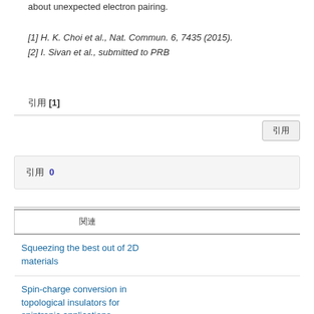about unexpected electron pairing.
[1] H. K. Choi et al., Nat. Commun. 6, 7435 (2015).
[2] I. Sivan et al., submitted to PRB
引用 [1]
引用 0
| 関連 |
| --- |
| Squeezing the best out of 2D materials |
| Spin-charge conversion in topological insulators for spintronic applications |
| 0D/1D/2D/3D |